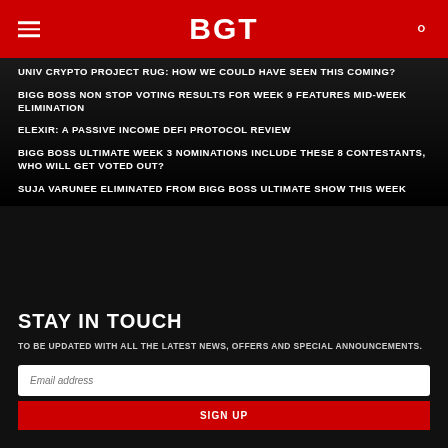BGT
UNIV CRYPTO PROJECT RUG: HOW WE COULD HAVE SEEN THIS COMING?
BIGG BOSS NON STOP VOTING RESULTS FOR WEEK 9 FEATURES MID-WEEK ELIMINATION
ELEXIR: A PASSIVE INCOME DEFI PROTOCOL REVIEW
BIGG BOSS ULTIMATE WEEK 3 NOMINATIONS INCLUDE THESE 8 CONTESTANTS, WHO WILL GET VOTED OUT?
SUJA VARUNEE ELIMINATED FROM BIGG BOSS ULTIMATE SHOW THIS WEEK
STAY IN TOUCH
TO BE UPDATED WITH ALL THE LATEST NEWS, OFFERS AND SPECIAL ANNOUNCEMENTS.
Email address
SIGN UP